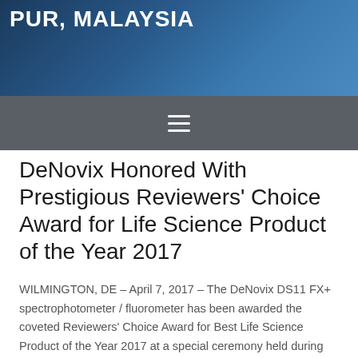PUR, MALAYSIA
DeNovix Honored With Prestigious Reviewers' Choice Award for Life Science Product of the Year 2017
WILMINGTON, DE – April 7, 2017 – The DeNovix DS11 FX+ spectrophotometer / fluorometer has been awarded the coveted Reviewers' Choice Award for Best Life Science Product of the Year 2017 at a special ceremony held during the meeting of the American Association of Cancer Research in Washington D.C., USA.
Hosted by SelectScience®, the Scientists Choice Awards®